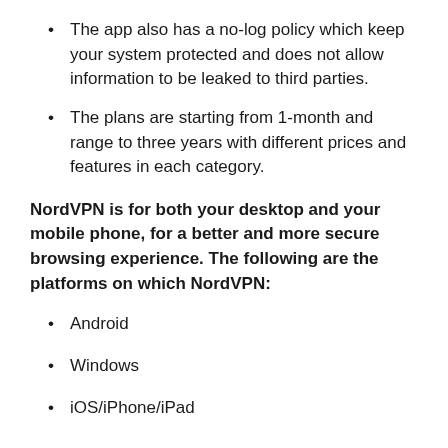The app also has a no-log policy which keep your system protected and does not allow information to be leaked to third parties.
The plans are starting from 1-month and range to three years with different prices and features in each category.
NordVPN is for both your desktop and your mobile phone, for a better and more secure browsing experience. The following are the platforms on which NordVPN:
Android
Windows
iOS/iPhone/iPad